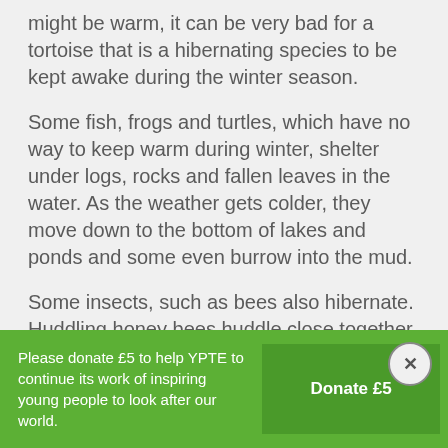might be warm, it can be very bad for a tortoise that is a hibernating species to be kept awake during the winter season.
Some fish, frogs and turtles, which have no way to keep warm during winter, shelter under logs, rocks and fallen leaves in the water. As the weather gets colder, they move down to the bottom of lakes and ponds and some even burrow into the mud.
Some insects, such as bees also hibernate. Huddling honey bees huddle close together in their hive to stay warm, whereas burrowing bumblebees dig a tunnel in the ground and crawl inside through the winter
Please donate £5 to help YPTE to continue its work of inspiring young people to look after our world.
Donate £5